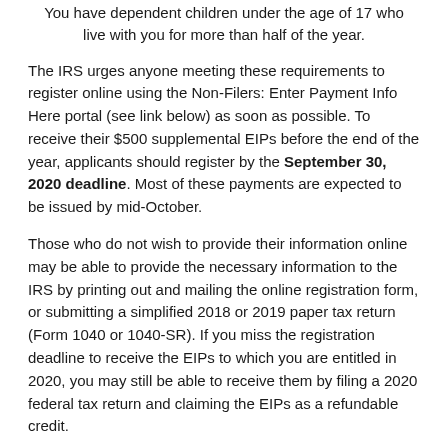You have dependent children under the age of 17 who live with you for more than half of the year.
The IRS urges anyone meeting these requirements to register online using the Non-Filers: Enter Payment Info Here portal (see link below) as soon as possible. To receive their $500 supplemental EIPs before the end of the year, applicants should register by the September 30, 2020 deadline. Most of these payments are expected to be issued by mid-October.
Those who do not wish to provide their information online may be able to provide the necessary information to the IRS by printing out and mailing the online registration form, or submitting a simplified 2018 or 2019 paper tax return (Form 1040 or 1040-SR). If you miss the registration deadline to receive the EIPs to which you are entitled in 2020, you may still be able to receive them by filing a 2020 federal tax return and claiming the EIPs as a refundable credit.